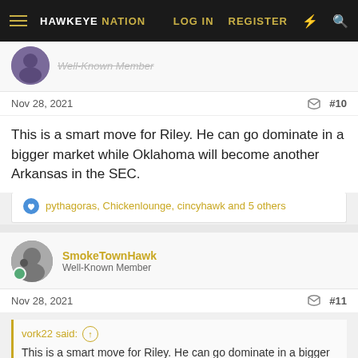HAWKEYE NATION  LOG IN  REGISTER
Well-Known Member
Nov 28, 2021  #10
This is a smart move for Riley. He can go dominate in a bigger market while Oklahoma will become another Arkansas in the SEC.
pythagoras, Chickenlounge, cincyhawk and 5 others
SmokeTownHawk
Well-Known Member
Nov 28, 2021  #11
vork22 said:
This is a smart move for Riley. He can go dominate in a bigger market while Oklahoma will become another Arkansas in the SEC.